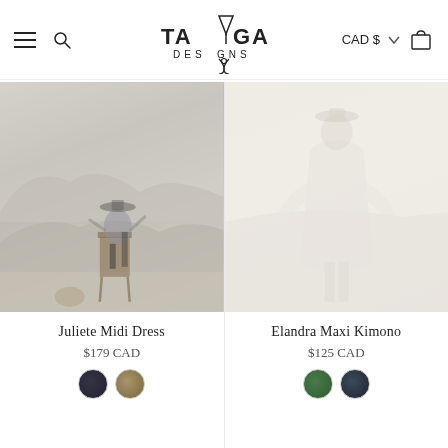Tamga Designs — CAD $ — Navigation header
[Figure (photo): Woman in a patterned midi dress standing on a wooden chair in a desert landscape with rocky hills in the background]
Juliete Midi Dress
$179 CAD
[Figure (photo): Figure in a flowing white maxi kimono standing in a bright, faded background]
Elandra Maxi Kimono
$125 CAD